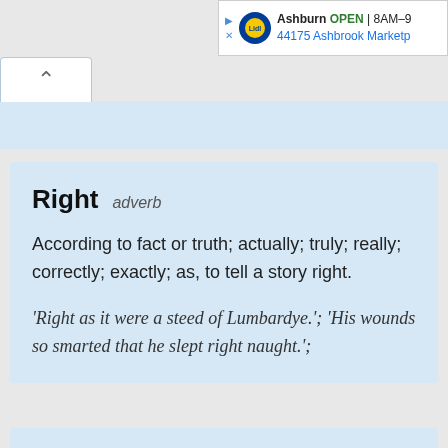[Figure (screenshot): Lidl advertisement banner showing Ashburn location, OPEN 8AM-9, 44175 Ashbrook Marketp]
Right  adverb
According to fact or truth; actually; truly; really; correctly; exactly; as, to tell a story right.
‘Right as it were a steed of Lumbardye.’; ‘His wounds so smarted that he slept right naught.’;